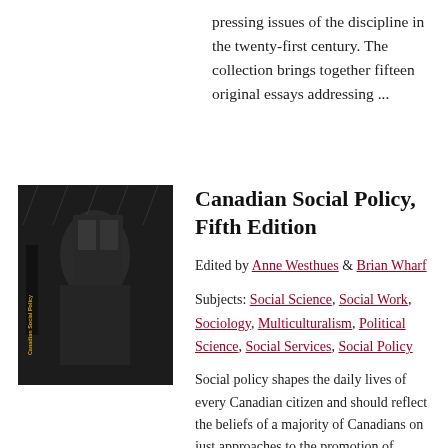pressing issues of the discipline in the twenty-first century. The collection brings together fifteen original essays addressing ...
[Figure (photo): Book cover of 'Canadian Social Policy, Fifth Edition' — black and white photograph of a person in the rain, with the title text in yellow on the spine/cover.]
Canadian Social Policy, Fifth Edition
Edited by Anne Westhues & Brian Wharf
Subjects: Social Science, Social Work, Sociology, Multiculturalism, Political Science, Social Services, Social Policy
Social policy shapes the daily lives of every Canadian citizen and should reflect the beliefs of a majority of Canadians on just approaches to the promotion of health, safety, and well-being. Too often, ...